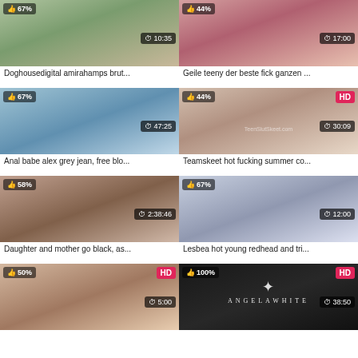[Figure (screenshot): Video thumbnail grid showing 8 video cards in a 2-column layout. Each card has a thumbnail image, like percentage badge, optional HD badge, duration badge, and title text.]
Doghousedigital amirahamps brut...
Geile teeny der beste fick ganzen ...
Anal babe alex grey jean, free blo...
Teamskeet hot fucking summer co...
Daughter and mother go black, as...
Lesbea hot young redhead and tri...
50% HD thumbnail card
100% HD Angela White card